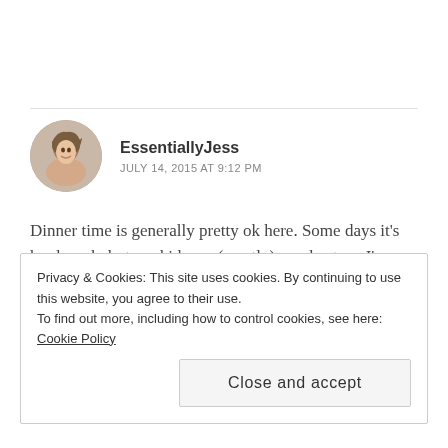[Figure (photo): Circular avatar photo of a woman with brown hair, smiling, used as a blog commenter profile picture]
EssentiallyJess
JULY 14, 2015 AT 9:12 PM
Dinner time is generally pretty ok here. Some days it's hard work, but my kids are (mostly) good eaters. I'm probably the fussiest out of everyone!
Privacy & Cookies: This site uses cookies. By continuing to use this website, you agree to their use.
To find out more, including how to control cookies, see here: Cookie Policy
Close and accept